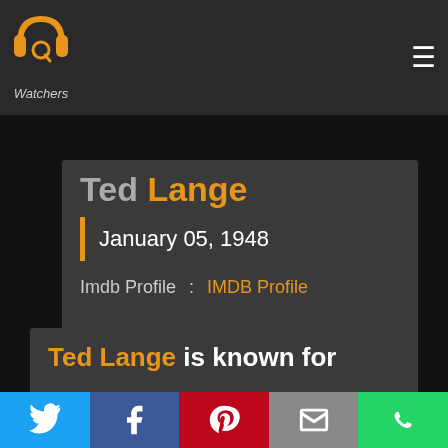[Figure (logo): QP Watchers logo with orange headphone/Q icon and italic 'Watchers' text below]
Ted Lange
January 05, 1948
Imdb Profile : IMDB Profile
Ted Lange is known for
[Figure (infographic): Social share bar with Twitter, Facebook, Pinterest, Email, WhatsApp buttons]